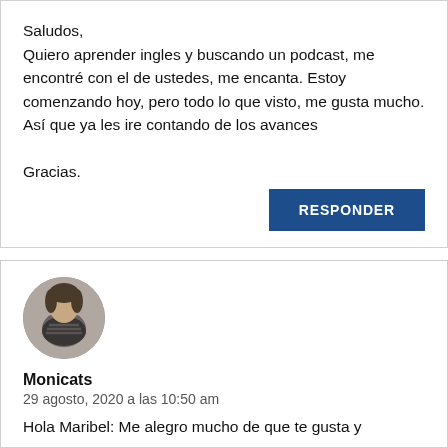Saludos,
Quiero aprender ingles y buscando un podcast, me encontré con el de ustedes, me encanta. Estoy comenzando hoy, pero todo lo que visto, me gusta mucho. Así que ya les ire contando de los avances

Gracias.
RESPONDER
[Figure (photo): Circular avatar photo of a woman with dark hair wearing a dark patterned top]
Monicats
29 agosto, 2020 a las 10:50 am
Hola Maribel: Me alegro mucho de que te gusta y